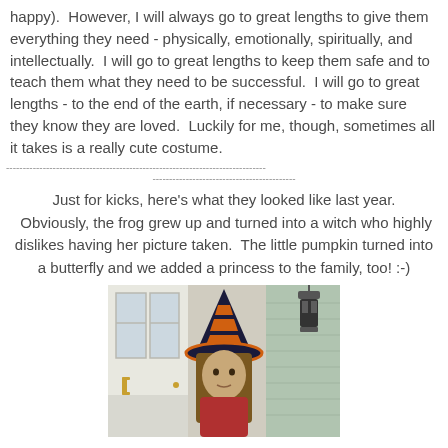happy).  However, I will always go to great lengths to give them everything they need - physically, emotionally, spiritually, and intellectually.  I will go to great lengths to keep them safe and to teach them what they need to be successful.  I will go to great lengths - to the end of the earth, if necessary - to make sure they know they are loved.  Luckily for me, though, sometimes all it takes is a really cute costume.
Just for kicks, here's what they looked like last year.  Obviously, the frog grew up and turned into a witch who highly dislikes having her picture taken.  The little pumpkin turned into a butterfly and we added a princess to the family, too! :-)
[Figure (photo): A child dressed in a black and orange striped witch hat costume, standing in front of a house with a white door and green siding, with a black lantern visible on the right.]